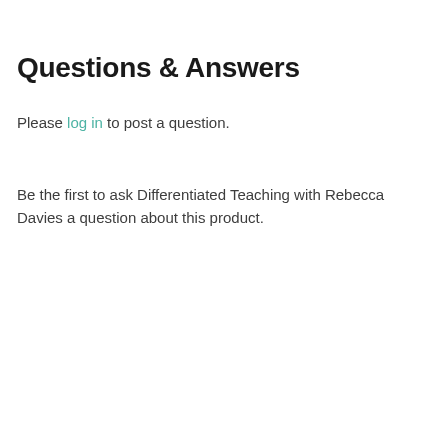Questions & Answers
Please log in to post a question.
Be the first to ask Differentiated Teaching with Rebecca Davies a question about this product.